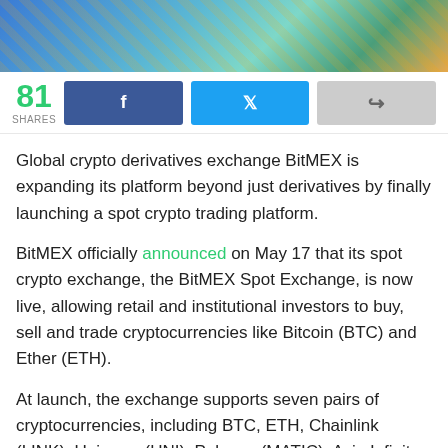[Figure (illustration): Colorful hero banner image with crypto/trading theme illustration featuring abstract digital graphics and a character]
81 SHARES
Global crypto derivatives exchange BitMEX is expanding its platform beyond just derivatives by finally launching a spot crypto trading platform.
BitMEX officially announced on May 17 that its spot crypto exchange, the BitMEX Spot Exchange, is now live, allowing retail and institutional investors to buy, sell and trade cryptocurrencies like Bitcoin (BTC) and Ether (ETH).
At launch, the exchange supports seven pairs of cryptocurrencies, including BTC, ETH, Chainlink (LINK), Uniswap (UNI), Polygon (MATIC), Axie Infinity (AXS) and ApeCoin (APE), all trading against the Tether stablecoin (USDT).